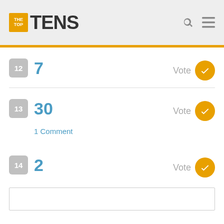TheTopTens
12  7  Vote
13  30  Vote  1 Comment
14  2  Vote